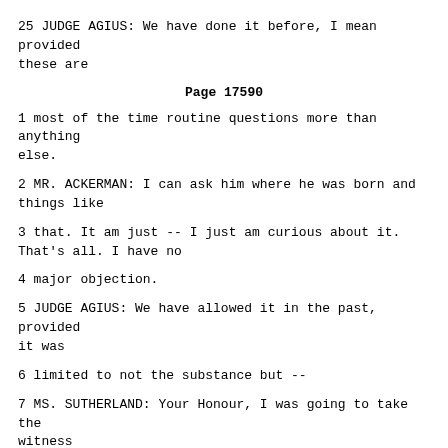25 JUDGE AGIUS: We have done it before, I mean provided these are
Page 17590
1 most of the time routine questions more than anything else.
2 MR. ACKERMAN: I can ask him where he was born and things like
3 that. It am just -- I just am curious about it. That's all. I have no
4 major objection.
5 JUDGE AGIUS: We have allowed it in the past, provided it was
6 limited to not the substance but --
7 MS. SUTHERLAND: Your Honour, I was going to take the witness
8 through, since his statements are being tendered as evidence, I want to --
9 he has made three corrections to his ICTY statement which I wanted to
10 correct on the record.